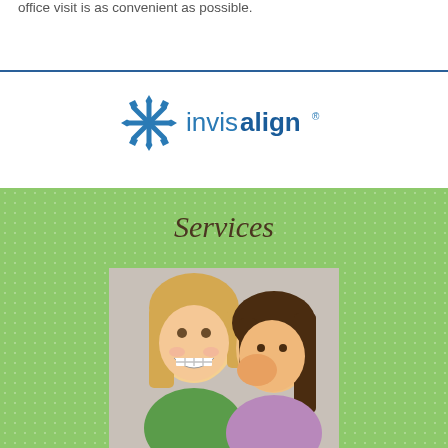office visit is as convenient as possible.
[Figure (logo): Invisalign logo with blue snowflake/asterisk icon and 'invisalign' wordmark in blue text with registered trademark symbol]
Services
[Figure (photo): Two young girls laughing; one girl with braces is smiling broadly while another girl whispers in her ear, both appearing happy]